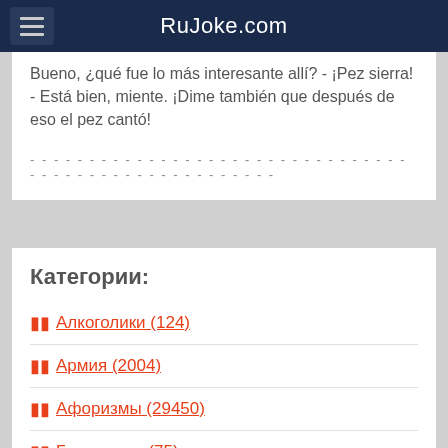RuJoke.com
Bueno, ¿qué fue lo más interesante allí? - ¡Pez sierra! - Está bien, miente. ¡Dime también que después de eso el pez cantó!
Категории:
Алкоголики (124)
Армия (2004)
Афоризмы (29450)
Бородатые (75)